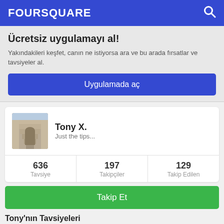FOURSQUARE
Ücretsiz uygulamayı al!
Yakındakileri keşfet, canın ne istiyorsa ara ve bu arada fırsatlar ve tavsiyeler al.
Uygulamada aç
Tony X.
Just the tips...
| Tavsiye | Takipçiler | Takip Edilen |
| --- | --- | --- |
| 636 | 197 | 129 |
Takip Et
Tony'nın Tavsiyeleri
The Sandbar At Boston's On The Beach  Delray Beach, FL
Lots of bros ordering brojitos and expanding their brocabulary to unsuspecting girls. Surprised Broseidon doesn't rise from